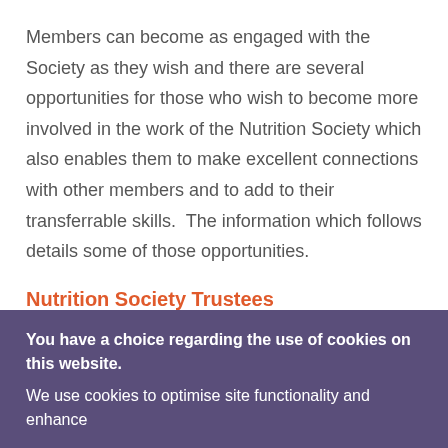Members can become as engaged with the Society as they wish and there are several opportunities for those who wish to become more involved in the work of the Nutrition Society which also enables them to make excellent connections with other members and to add to their transferrable skills.  The information which follows details some of those opportunities.
Nutrition Society Trustees
The Nutrition Society is governed by a Board of
You have a choice regarding the use of cookies on this website.
We use cookies to optimise site functionality and enhance